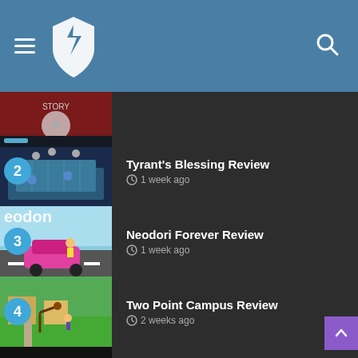Gaming review site header with hamburger menu, shield logo, and search icon
Tyrant's Blessing Review · 1 week ago
Neodori Forever Review · 1 week ago
Two Point Campus Review · 2 weeks ago
Donut Dodo Review · 2 weeks ago